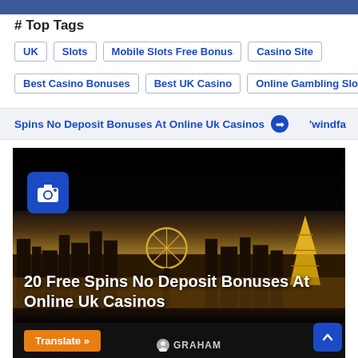# Top Tags
UK  Slots  Mobile Slots Free Bonus  Casino Site
Best Casino Bonuses  Best UK Casino  Online Gambling Slots
Spins No Deposit Bonuses At Online Uk Casinos   ➤  'windfa
[Figure (photo): Night cityscape of Las Vegas strip with iconic landmarks including Eiffel Tower replica and Ferris wheel, brightly lit against a dark sky. Overlaid text: '20 Free Spins No Deposit Bonuses At Online Uk Casinos'. Blue camera icon in upper left. Orange 'Translate »' button at bottom left. Author 'GRAHAM' at bottom center. Blue scroll-up button at bottom right.]